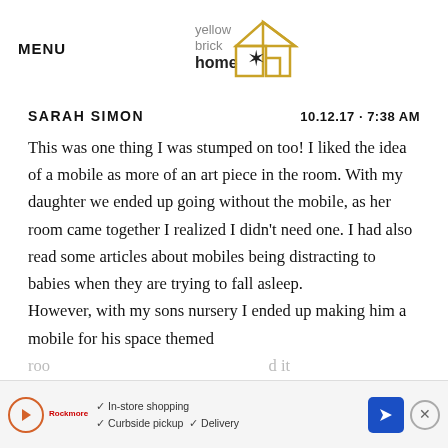MENU | yellow brick home (logo)
SARAH SIMON   10.12.17 · 7:38 AM
This was one thing I was stumped on too! I liked the idea of a mobile as more of an art piece in the room. With my daughter we ended up going without the mobile, as her room came together I realized I didn't need one. I had also read some articles about mobiles being distracting to babies when they are trying to fall asleep.
However, with my sons nursery I ended up making him a mobile for his space themed roo... it tur...
[Figure (other): Advertisement bar at bottom: store shopping options with play button, Rockmore logo, checkmarks for In-store shopping, Curbside pickup, Delivery, blue navigation arrow, and close button]